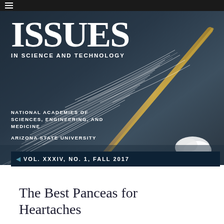[Figure (illustration): Magazine cover photo of a feather (quill) with white wispy fibers against a dark background, with a golden/bamboo quill tip visible in the upper right. Background is dark blue-grey gradient.]
ISSUES IN SCIENCE AND TECHNOLOGY
NATIONAL ACADEMIES OF SCIENCES, ENGINEERING, AND MEDICINE
ARIZONA STATE UNIVERSITY
VOL. XXXIV, NO. 1, FALL 2017
The Best Panceas for Heartaches